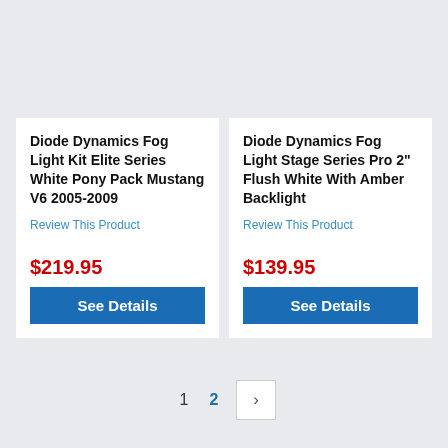Diode Dynamics Fog Light Kit Elite Series White Pony Pack Mustang V6 2005-2009
Review This Product
$219.95
See Details
Diode Dynamics Fog Light Stage Series Pro 2" Flush White With Amber Backlight
Review This Product
$139.95
See Details
1  2  >